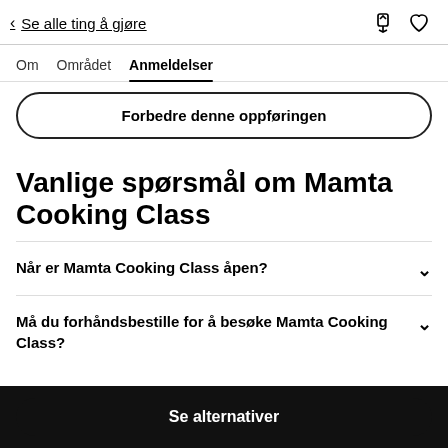< Se alle ting å gjøre
Om  Området  Anmeldelser
Forbedre denne oppføringen
Vanlige spørsmål om Mamta Cooking Class
Når er Mamta Cooking Class åpen?
Må du forhåndsbestille for å besøke Mamta Cooking Class?
Se alternativer